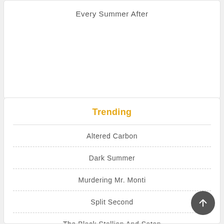Every Summer After
Trending
Altered Carbon
Dark Summer
Murdering Mr. Monti
Split Second
The Black Stallion And Satan
Crystal'S Gallant Adventures
The Last Child